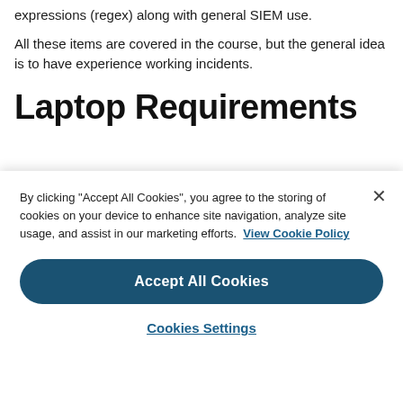expressions (regex) along with general SIEM use.
All these items are covered in the course, but the general idea is to have experience working incidents.
Laptop Requirements
By clicking "Accept All Cookies", you agree to the storing of cookies on your device to enhance site navigation, analyze site usage, and assist in our marketing efforts. View Cookie Policy
Accept All Cookies
Cookies Settings